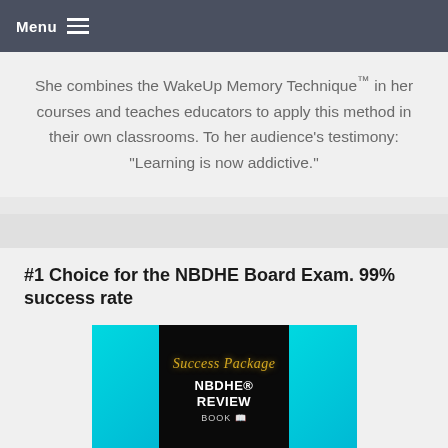Menu
She combines the WakeUp Memory Technique™ in her courses and teaches educators to apply this method in their own classrooms. To her audience's testimony: "Learning is now addictive."
#1 Choice for the NBDHE Board Exam. 99% success rate
[Figure (photo): Book cover image for the NBDHE Review Success Package with cyan gradient side panels and a black center panel showing 'Success Package' in script, 'NBDHE® REVIEW' in bold white text, and 'BOOK' below.]
Success Package